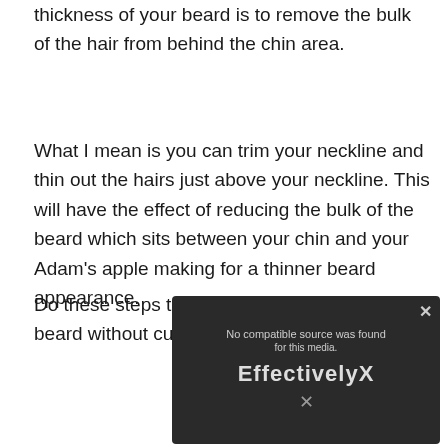thickness of your beard is to remove the bulk of the hair from behind the chin area.
What I mean is you can trim your neckline and thin out the hairs just above your neckline. This will have the effect of reducing the bulk of the beard which sits between your chin and your Adam's apple making for a thinner beard appearance.
Do these steps to reduce the bulk of your beard without cutting away the length in
[Figure (screenshot): Video player overlay showing 'No compatible source was found for this media.' error message with EffectivelyX branding logo on dark background.]